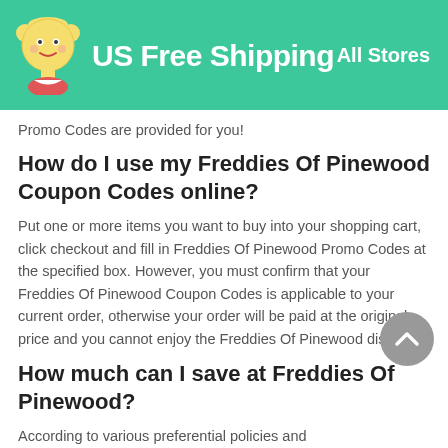US Free Shipping | All Stores
Promo Codes are provided for you!
How do I use my Freddies Of Pinewood Coupon Codes online?
Put one or more items you want to buy into your shopping cart, click checkout and fill in Freddies Of Pinewood Promo Codes at the specified box. However, you must confirm that your Freddies Of Pinewood Coupon Codes is applicable to your current order, otherwise your order will be paid at the original price and you cannot enjoy the Freddies Of Pinewood discount.
How much can I save at Freddies Of Pinewood?
According to various preferential policies and